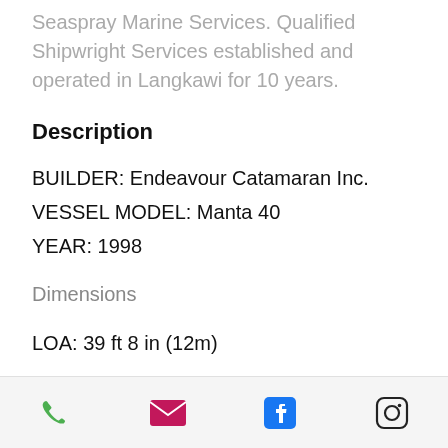Seaspray Marine Services. Qualified Shipwright Services established and operated in Langkawi for 10 years.
Description
BUILDER: Endeavour Catamaran Inc.
VESSEL MODEL: Manta 40
YEAR: 1998
Dimensions
LOA: 39 ft 8 in (12m)
Beam: 21 ft 0 in (6.4m)
Phone | Email | Facebook | Instagram